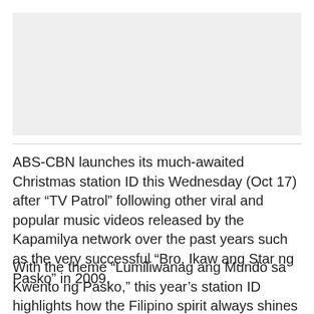[Figure (photo): Image placeholder area, light gray background]
ABS-CBN launches its much-awaited Christmas station ID this Wednesday (Oct 17) after “TV Patrol” following other viral and popular music videos released by the Kapamilya network over the past years such as the very successful “Bro, Ikaw ang Star ng Pasko” in 2009.
With the theme “Lumiliwanag ang Mundo sa Kwento ng Pasko,” this year’s station ID highlights how the Filipino spirit always shines through despite calamities that ravage our